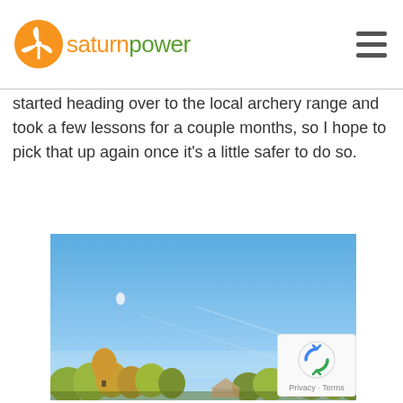saturn power [logo with windmill icon]
started heading over to the local archery range and took a few lessons for a couple months, so I hope to pick that up again once it's a little safer to do so.
[Figure (photo): Outdoor photo showing a clear blue sky with a small balloon or kite visible in the upper left area, and autumn trees visible along the bottom edge.]